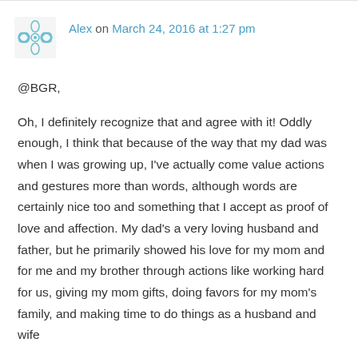[Figure (illustration): Decorative avatar icon: a teal/blue geometric snowflake-like ornamental symbol in a square]
Alex on March 24, 2016 at 1:27 pm
@BGR,

Oh, I definitely recognize that and agree with it! Oddly enough, I think that because of the way that my dad was when I was growing up, I've actually come value actions and gestures more than words, although words are certainly nice too and something that I accept as proof of love and affection. My dad's a very loving husband and father, but he primarily showed his love for my mom and for me and my brother through actions like working hard for us, giving my mom gifts, doing favors for my mom's family, and making time to do things as a husband and wife